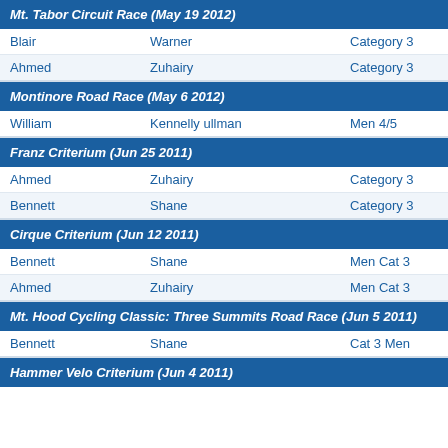Mt. Tabor Circuit Race (May 19 2012)
| First | Last | Category |
| --- | --- | --- |
| Blair | Warner | Category 3 |
| Ahmed | Zuhairy | Category 3 |
Montinore Road Race (May 6 2012)
| First | Last | Category |
| --- | --- | --- |
| William | Kennelly ullman | Men 4/5 |
Franz Criterium (Jun 25 2011)
| First | Last | Category |
| --- | --- | --- |
| Ahmed | Zuhairy | Category 3 |
| Bennett | Shane | Category 3 |
Cirque Criterium (Jun 12 2011)
| First | Last | Category |
| --- | --- | --- |
| Bennett | Shane | Men Cat 3 |
| Ahmed | Zuhairy | Men Cat 3 |
Mt. Hood Cycling Classic: Three Summits Road Race (Jun 5 2011)
| First | Last | Category |
| --- | --- | --- |
| Bennett | Shane | Cat 3 Men |
Hammer Velo Criterium (Jun 4 2011)